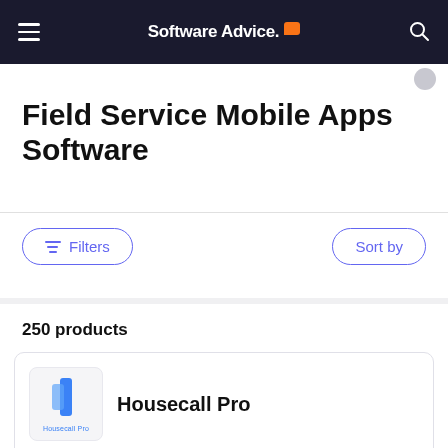Software Advice.
Field Service Mobile Apps Software
Filters
Sort by
250 products
Housecall Pro
Housecall Pro is a cloud-based field service management app for service professionals to